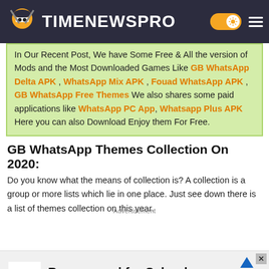TIMENEWSPRO
In Our Recent Post, We have Some Free & All the version of Mods and the Most Downloaded Games Like GB WhatsApp Delta APK , WhatsApp Mix APK , Fouad WhatsApp APK , GB WhatsApp Free Themes We also shares some paid applications like WhatsApp PC App, Whatsapp Plus APK Here you can also Download Enjoy them For Free.
GB WhatsApp Themes Collection On 2020:
Do you know what the means of collection is? A collection is a group or more lists which lie in one place. Just see down there is a list of themes collection on this year.
Advertisement
[Figure (screenshot): Walgreens Photo advertisement banner: 'Be prepared for School - Walgreens Photo']